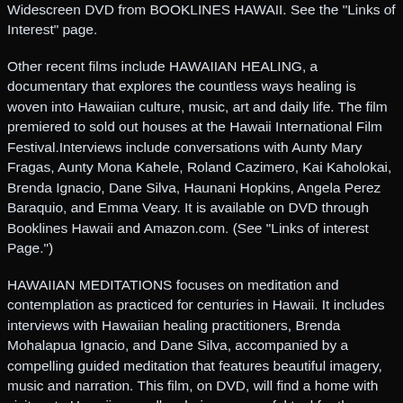Widescreen DVD from BOOKLINES HAWAII. See the "Links of Interest" page.
Other recent films include HAWAIIAN HEALING, a documentary that explores the countless ways healing is woven into Hawaiian culture, music, art and daily life. The film premiered to sold out houses at the Hawaii International Film Festival.Interviews include conversations with Aunty Mary Fragas, Aunty Mona Kahele, Roland Cazimero, Kai Kaholokai, Brenda Ignacio, Dane Silva, Haunani Hopkins, Angela Perez Baraquio, and Emma Veary. It is available on DVD through Booklines Hawaii and Amazon.com. (See "Links of interest Page.")
HAWAIIAN MEDITATIONS focuses on meditation and contemplation as practiced for centuries in Hawaii. It includes interviews with Hawaiian healing practitioners, Brenda Mohalapua Ignacio, and Dane Silva, accompanied by a compelling guided meditation that features beautiful imagery, music and narration. This film, on DVD, will find a home with visitors to Hawaii, as well as being a powerful tool for those facing stress situations in their personal and professional lives. It is currently in use by doctors and other healing professionals to assist patients facing or recovering from surgery. It is also available through Booklines Hawaii. (See "Links of Interest Page.")